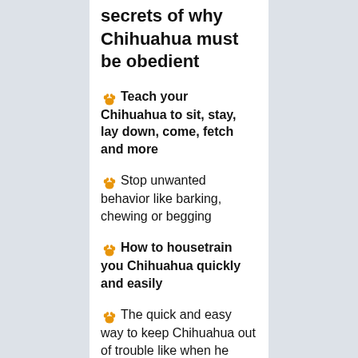secrets of why Chihuahua must be obedient
🐾 Teach your Chihuahua to sit, stay, lay down, come, fetch and more
🐾 Stop unwanted behavior like barking, chewing or begging
🐾 How to housetrain you Chihuahua quickly and easily
🐾 The quick and easy way to keep Chihuahua out of trouble like when he barks at your neighbor!